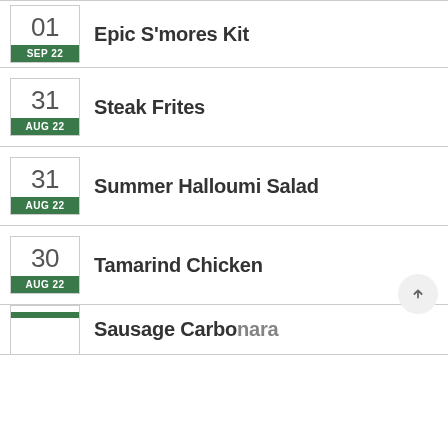01 SEP 22 | Epic S'mores Kit
31 AUG 22 | Steak Frites
31 AUG 22 | Summer Halloumi Salad
30 AUG 22 | Tamarind Chicken
Sausage Carbonara (partial)